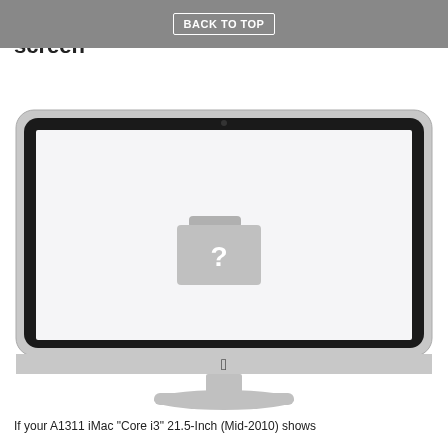flashing folder sign on the screen
[Figure (illustration): An iMac desktop computer displaying a white screen with a grey folder icon with a question mark in the center, indicating a missing startup disk.]
If your A1311 iMac "Core i3" 21.5-Inch (Mid-2010) shows